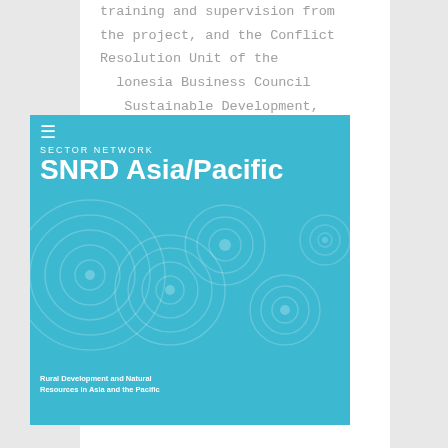training and supervision from the project, and the Conflict Resolution Unit of the Indonesia Business Council Sustainable Development, cceeded in facilitating a mpany-community dialogue and reaching a preliminary agreement for one of the most difficult dispute cases. Since the dispute was reported the first time about 21 years ago, the company now allows the local community to use 384 ha of land inside the concession for
[Figure (logo): SNRD Asia/Pacific logo - Sector Network Rural Development and Natural Resources in Asia and the Pacific, teal/cyan background with circular pattern overlay]